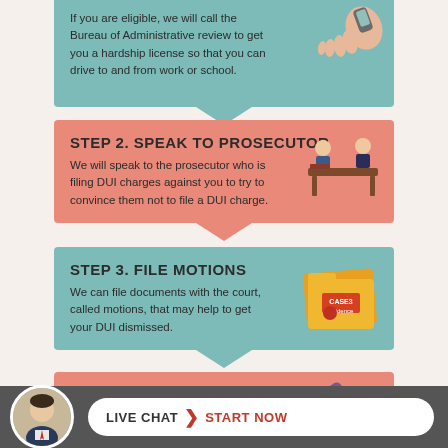If you are eligible, we will call the Bureau of Administrative review to get you a hardship license so that you can drive to and from work or school.
STEP 2. SPEAK TO PROSECUTOR
We will speak to the prosecutor who is filing DUI charges against you to try to convince them not to file a DUI charge.
STEP 3. FILE MOTIONS
We can file documents with the court, called motions, that may help to get your DUI dismissed.
STEP 4. DISMISSAL, PLEA BARGAIN OR TRIAL
We will do everything possible to get your DUI...
LIVE CHAT ❯ START NOW